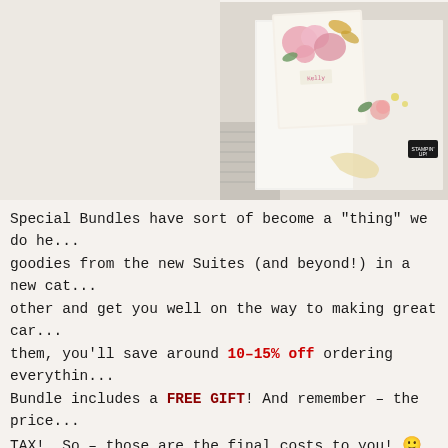[Figure (photo): Stampin' Up! 2021-2022 Annual Catalog cover and floral card display showing pink and yellow floral card making projects on a light background with a ruler visible]
Special Bundles have sort of become a "thing" we do he... goodies from the new Suites (and beyond!) in a new cat... other and get you well on the way to making great car... them, you'll save around 10-15% off ordering everythin... Bundle includes a FREE GIFT! And remember – the price... TAX! So – those are the final costs to you! 🙂
Head over to my 2021–2022 Annual Catalog Special Bun... what I've put together for you. Then, use the handy fo... placed!